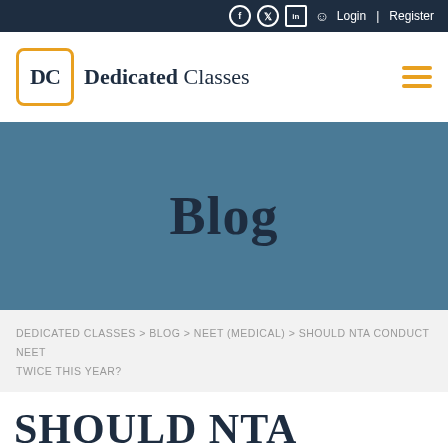Login | Register
[Figure (logo): DC Dedicated Classes logo with orange border box and hamburger menu icon]
Blog
DEDICATED CLASSES > BLOG > NEET (MEDICAL) > SHOULD NTA CONDUCT NEET TWICE THIS YEAR?
SHOULD NTA CONDUCT